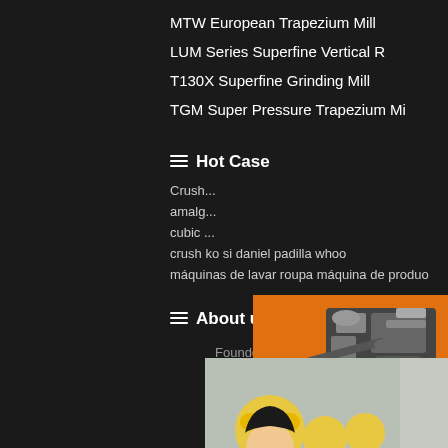MTW European Trapezium Mill
LUM Series Superfine Vertical R
T130X Superfine Grinding Mill
TGM Super Pressure Trapezium Mi
Hot Case
Crush...
amalg...
cubic...
crush ko si daniel padilla whoo
máquinas de lavar roupa máquina de produo
About us
Founded in 1987, Liming Crushing Company is mainly engaged in the R&D and manufacturing of large-
[Figure (photo): Live chat popup overlay with woman in hard hat, three workers in background, and chat buttons]
[Figure (photo): Right sidebar with orange background showing industrial machinery images, discount offer, enquiry button, and email contact]